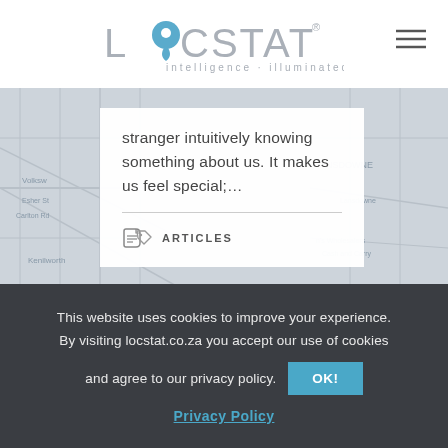[Figure (logo): LOCSTAT logo with location pin icon and tagline 'intelligence · illuminated']
[Figure (map): Gray street map background showing Kenilworth area with street names]
stranger intuitively knowing something about us. It makes us feel special;…
ARTICLES
This website uses cookies to improve your experience. By visiting locstat.co.za you accept our use of cookies and agree to our privacy policy.
Privacy Policy